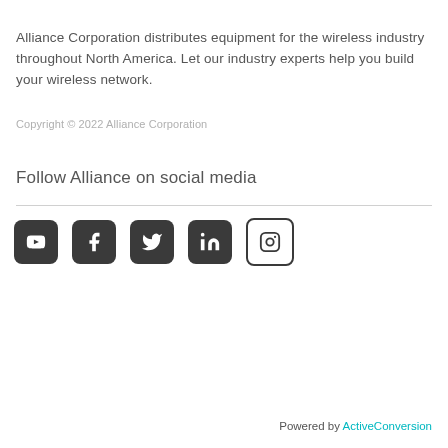Alliance Corporation distributes equipment for the wireless industry throughout North America. Let our industry experts help you build your wireless network.
Copyright © 2022 Alliance Corporation
Follow Alliance on social media
[Figure (illustration): Five social media icons: YouTube, Facebook, Twitter, LinkedIn, Instagram — displayed as white icons on dark rounded square backgrounds.]
Powered by ActiveConversion